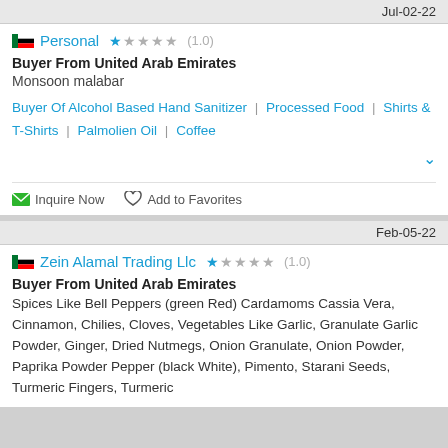Jul-02-22
Personal ★☆☆☆☆ (1.0)
Buyer From United Arab Emirates
Monsoon malabar
Buyer Of Alcohol Based Hand Sanitizer | Processed Food | Shirts & T-Shirts | Palmolien Oil | Coffee
Inquire Now   Add to Favorites
Feb-05-22
Zein Alamal Trading Llc ★☆☆☆☆ (1.0)
Buyer From United Arab Emirates
Spices Like Bell Peppers (green Red) Cardamoms Cassia Vera, Cinnamon, Chilies, Cloves, Vegetables Like Garlic, Granulate Garlic Powder, Ginger, Dried Nutmegs, Onion Granulate, Onion Powder, Paprika Powder Pepper (black White), Pimento, Starani Seeds, Turmeric Fingers, Turmeric